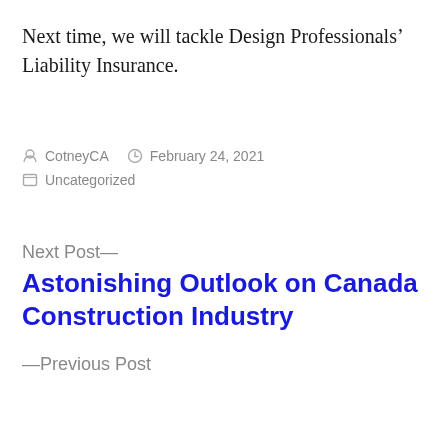Next time, we will tackle Design Professionals’ Liability Insurance.
Posted by CotneyCA   February 24, 2021   Uncategorized
Next Post—
Astonishing Outlook on Canada Construction Industry
—Previous Post